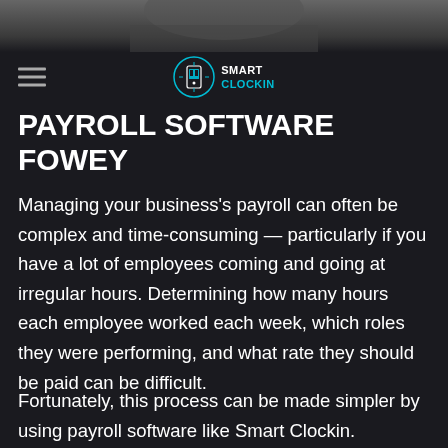[Figure (photo): Top banner image, partially visible, showing a person's lower face/neck area against a dark background]
SMART CLOCKIN
PAYROLL SOFTWARE FOWEY
Managing your business's payroll can often be complex and time-consuming — particularly if you have a lot of employees coming and going at irregular hours. Determining how many hours each employee worked each week, which roles they were performing, and what rate they should be paid can be difficult.
Fortunately, this process can be made simpler by using payroll software like Smart Clockin.